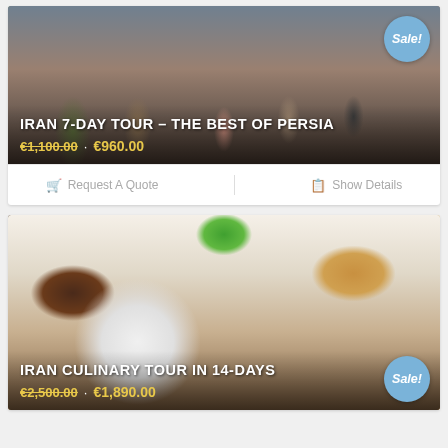[Figure (photo): Group of tourists with cameras in Iran, used as background for Iran 7-Day Tour card]
IRAN 7-DAY TOUR – THE BEST OF PERSIA
€1,100.00 · €960.00 (Sale!)
Request A Quote | Show Details
[Figure (photo): Iranian culinary spread with bowl of yogurt soup, dried fruits (barberries), walnuts, and fresh mint, used as background for Iran Culinary Tour card]
IRAN CULINARY TOUR IN 14-DAYS
€2,500.00 · €1,890.00 (Sale!)